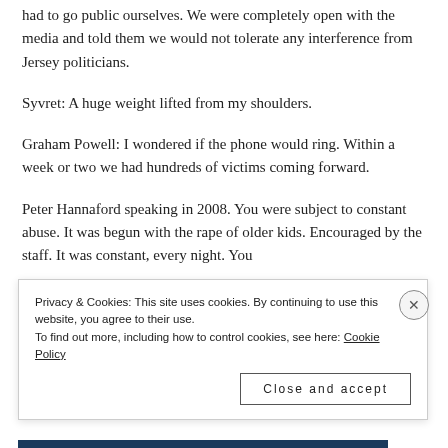had to go public ourselves. We were completely open with the media and told them we would not tolerate any interference from Jersey politicians.
Syvret: A huge weight lifted from my shoulders.
Graham Powell: I wondered if the phone would ring. Within a week or two we had hundreds of victims coming forward.
Peter Hannaford speaking in 2008. You were subject to constant abuse. It was begun with the rape of older kids. Encouraged by the staff. It was constant, every night. You
Privacy & Cookies: This site uses cookies. By continuing to use this website, you agree to their use. To find out more, including how to control cookies, see here: Cookie Policy
Close and accept